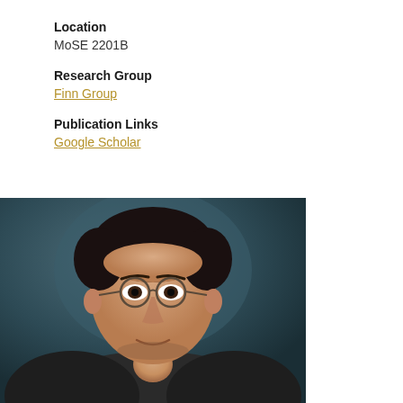Location
MoSE 2201B
Research Group
Finn Group
Publication Links
Google Scholar
[Figure (photo): Portrait photo of a middle-aged man with glasses and dark hair, wearing a suit, against a dark bluish-grey background.]